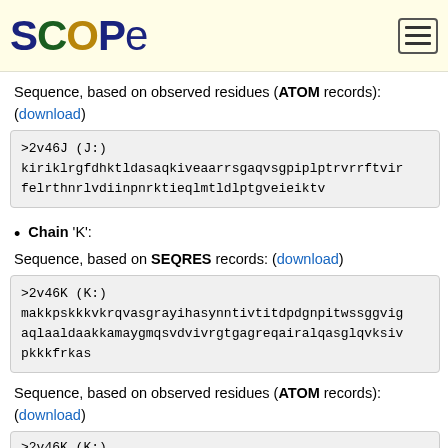SCOPe
Sequence, based on observed residues (ATOM records): (download)
>2v46J (J:)
kiriklrgfdhktldasaqkiveaarrsgaqvsgpiplptrvrrftvir
felrthnrlvdiinpnrktieqlmtldlptgveieiktv
Chain 'K':
Sequence, based on SEQRES records: (download)
>2v46K (K:)
makkpskkkvkrqvasgrayihasynntivtitdpdgnpitwssggvig
aqlaaldaakkamaygmqsvdvivrgtgagreqairalqasglqvksiv
pkkkfrkas
Sequence, based on observed residues (ATOM records): (download)
>2v46K (K:)